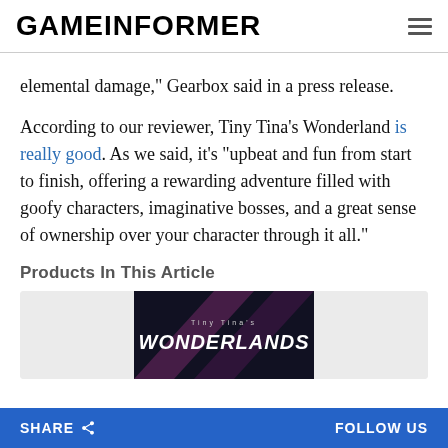GAMEINFORMER
elemental damage," Gearbox said in a press release.
According to our reviewer, Tiny Tina's Wonderland is really good. As we said, it's "upbeat and fun from start to finish, offering a rewarding adventure filled with goofy characters, imaginative bosses, and a great sense of ownership over your character through it all."
Products In This Article
[Figure (photo): Tiny Tina's Wonderlands game logo on dark background]
SHARE   FOLLOW US